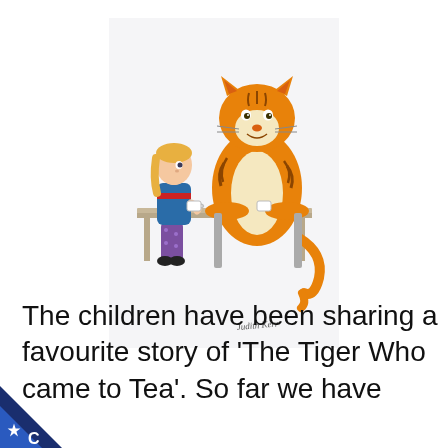[Figure (illustration): Illustration from 'The Tiger Who Came to Tea' showing a large orange tiger sitting at a table with a small girl with blonde hair, both seated at a wooden table. The tiger is much larger than the girl. There is a signature at the bottom of the illustration. The image has a light grey/white background.]
The children have been sharing a favourite story of 'The Tiger Who came to Tea'. So far we have
[Figure (logo): Blue and dark blue triangular badge/logo in the bottom-left corner with a white star/cog symbol and the letter C.]